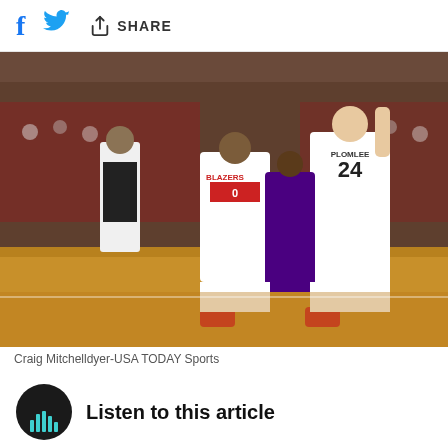Facebook share  Twitter share  Share
[Figure (photo): NBA basketball game action shot: Portland Trail Blazers players #0 (Damian Lillard dribbling) and #24 (Mason Plumlee setting a screen) against a Phoenix Suns defender in a packed arena. Referee stands to the left. Crowd fills the background.]
Craig Mitchelldyer-USA TODAY Sports
Listen to this article